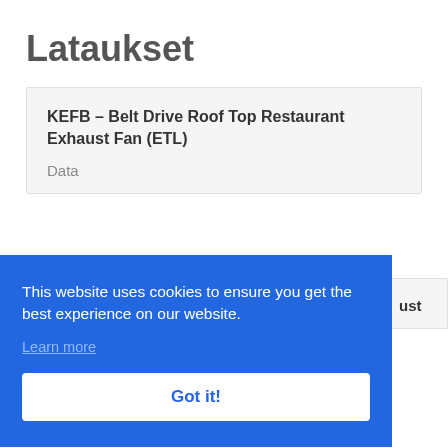Lataukset
KEFB – Belt Drive Roof Top Restaurant Exhaust Fan (ETL)
Data
This website uses cookies to ensure you get the best experience on our website.
Learn more
Got it!